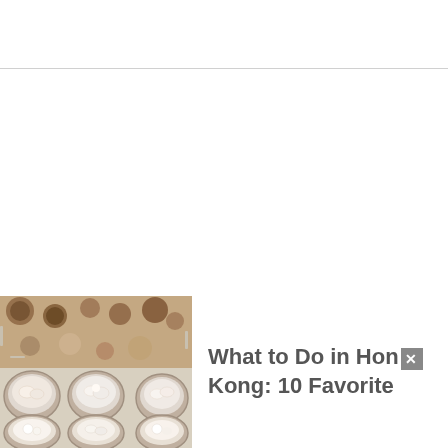[Figure (photo): Dim sum dishes in bamboo steamers, viewed from above, showing various dumplings and steamed items]
What to Do in Hong Kong: 10 Favorite